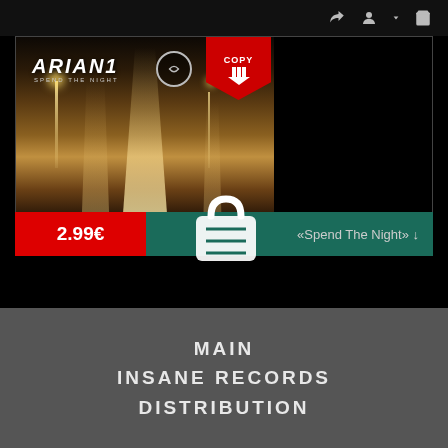Navigation icons (share, account, cart)
[Figure (photo): Album cover for ARIAN1 'Spend The Night' showing a blurred night city street with light trails, with a red COPY badge overlay and a shopping cart icon overlay]
2.99€
«Spend The Night» ↓
MAIN
INSANE RECORDS
DISTRIBUTION